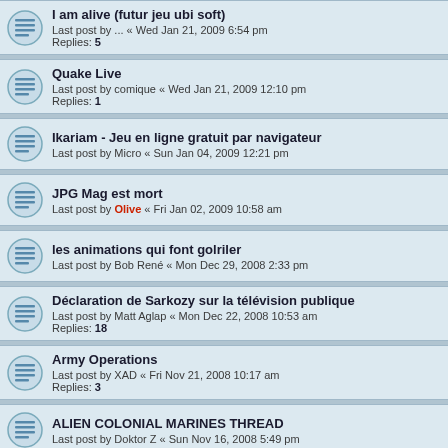I am alive (futur jeu ubi soft)
Last post by ... « Wed Jan 21, 2009 6:54 pm
Replies: 5
Quake Live
Last post by comique « Wed Jan 21, 2009 12:10 pm
Replies: 1
Ikariam - Jeu en ligne gratuit par navigateur
Last post by Micro « Sun Jan 04, 2009 12:21 pm
JPG Mag est mort
Last post by Olive « Fri Jan 02, 2009 10:58 am
les animations qui font golriler
Last post by Bob René « Mon Dec 29, 2008 2:33 pm
Déclaration de Sarkozy sur la télévision publique
Last post by Matt Aglap « Mon Dec 22, 2008 10:53 am
Replies: 18
Army Operations
Last post by XAD « Fri Nov 21, 2008 10:17 am
Replies: 3
ALIEN COLONIAL MARINES THREAD
Last post by Doktor Z « Sun Nov 16, 2008 5:49 pm
la thread des films de zombies
Last post by Shenji « Wed Nov 05, 2008 1:17 pm
Replies: 1
MODS GRATOS POUR HL2 THREAD
Last post by Doktor Z « Wed Oct 22, 2008 12:58 pm
Replies: 6